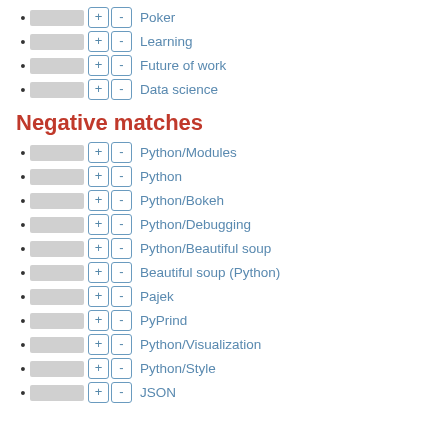Poker
Learning
Future of work
Data science
Negative matches
Python/Modules
Python
Python/Bokeh
Python/Debugging
Python/Beautiful soup
Beautiful soup (Python)
Pajek
PyPrind
Python/Visualization
Python/Style
JSON